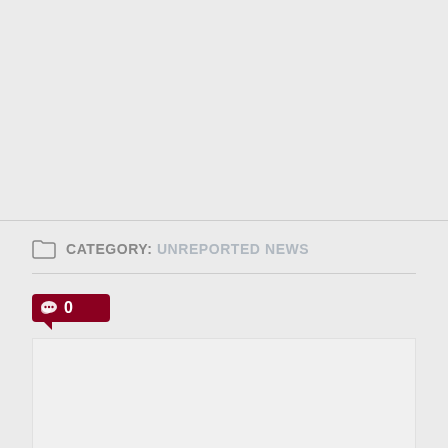CATEGORY: UNREPORTED NEWS
[Figure (other): Dark red speech bubble comment icon badge showing '0' comments]